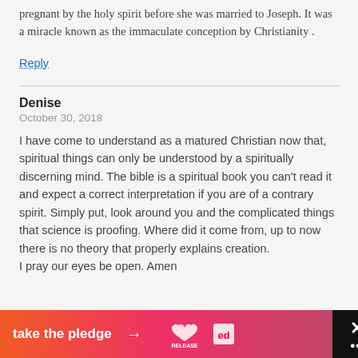pregnant by the holy spirit before she was married to Joseph. It was a miracle known as the immaculate conception by Christianity .
Reply
Denise
October 30, 2018
I have come to understand as a matured Christian now that, spiritual things can only be understood by a spiritually discerning mind. The bible is a spiritual book you can't read it and expect a correct interpretation if you are of a contrary spirit. Simply put, look around you and the complicated things that science is proofing. Where did it come from, up to now there is no theory that properly explains creation.
I pray our eyes be open. Amen
[Figure (infographic): Advertisement banner: orange-to-pink gradient with text 'take the pledge' and arrow, Release logo, Ed logo, and a close (X) button on dark background]